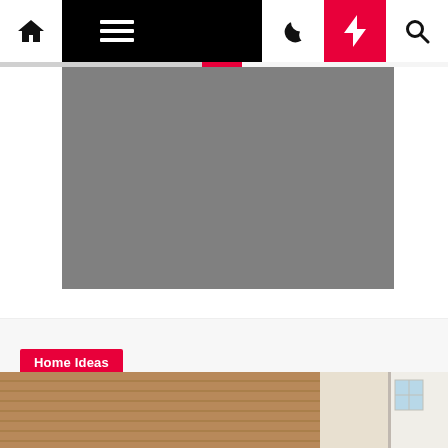Navigation bar with home, menu, moon/dark mode, lightning/trending, and search icons
[Figure (photo): Gray placeholder image for hero/article header photo]
Home Ideas
Build a Custom Banquette Corner Bench
Kennith Bogan  2 years ago
[Figure (photo): Partial photo of wooden slat wall exterior with building facade and window visible]